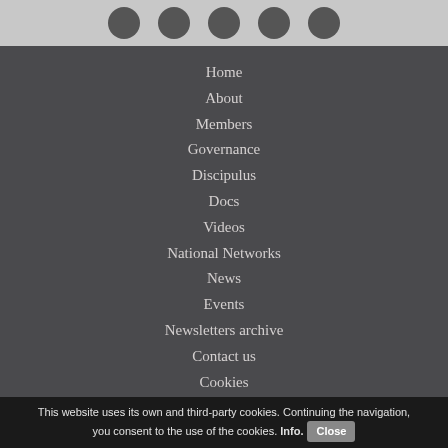[Figure (other): Top grey bar with circular social media icons]
Home
About
Members
Governance
Discipulus
Docs
Videos
National Networks
News
Events
Newsletters archive
Contact us
Cookies
Sitemap
Privacy statement
RSS news
RSS events
RSS feeds
© 2022 VPH Institute
This website uses its own and third-party cookies. Continuing the navigation, you consent to the use of the cookies. Info. Close